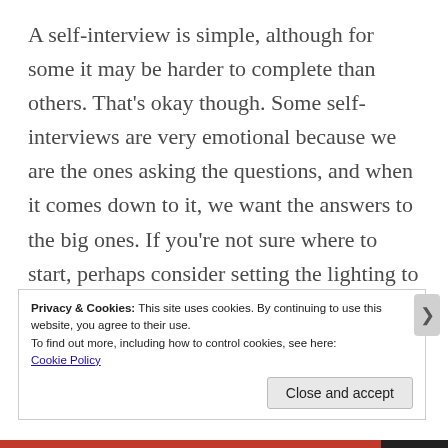A self-interview is simple, although for some it may be harder to complete than others. That's okay though. Some self-interviews are very emotional because we are the ones asking the questions, and when it comes down to it, we want the answers to the big ones. If you're not sure where to start, perhaps consider setting the lighting to one you are comfortable with and meditating first. Or, if you're ready, dive right in!
Privacy & Cookies: This site uses cookies. By continuing to use this website, you agree to their use.
To find out more, including how to control cookies, see here:
Cookie Policy
Close and accept